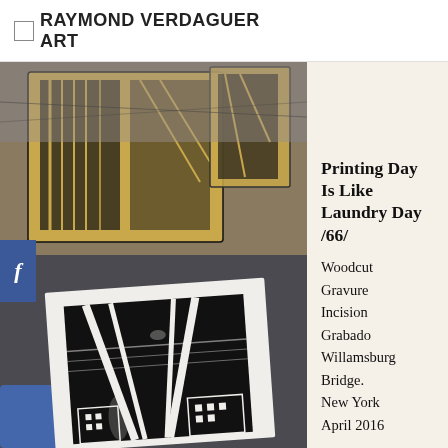RAYMOND VERDAGUER ART
[Figure (photo): Photo of woodcut printing process showing carved wooden block with urban/bridge design and a freshly printed black-and-white woodcut print of Williamsburg Bridge on white paper, in a workshop setting.]
Printing Day Is Like Laundry Day /66/
Woodcut
Gravure
Incision
Grabado
Willamsburg Bridge.
New York
April 2016